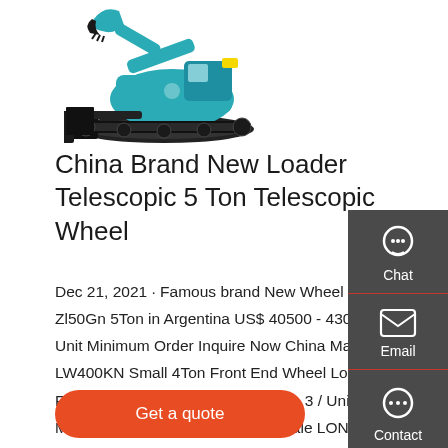[Figure (photo): Teal/green mini excavator with black tracks and blade attachment, shown against white background, partially cropped at top]
China Brand New Loader Telescopic 5 Ton Telescopic Wheel
Dec 21, 2021 · Famous brand New Wheel Loader Zl50Gn 5Ton in Argentina US$ 40500 - 43000 / Unit 1 Unit Minimum Order Inquire Now China Made LW400KN Small 4Ton Front End Wheel Loader Factory Price For Sale US$ 32000 - 3 / Unit 1 Unit Minimum Order Inquire Now Hot Sale LONKING 1.6t CDM816D Wheel Loader with 1m3 Bucket On Sales in South Africa US$ ...
Get a quote